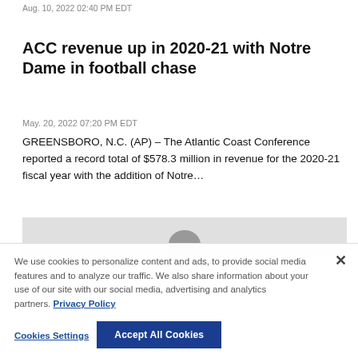Aug. 10, 2022 02:40 PM EDT
ACC revenue up in 2020-21 with Notre Dame in football chase
May. 20, 2022 07:20 PM EDT
GREENSBORO, N.C. (AP) – The Atlantic Coast Conference reported a record total of $578.3 million in revenue for the 2020-21 fiscal year with the addition of Notre…
[Figure (photo): Partially visible photo of a person, cropped at bottom of article]
We use cookies to personalize content and ads, to provide social media features and to analyze our traffic. We also share information about your use of our site with our social media, advertising and analytics partners. Privacy Policy
Cookies Settings | Accept All Cookies